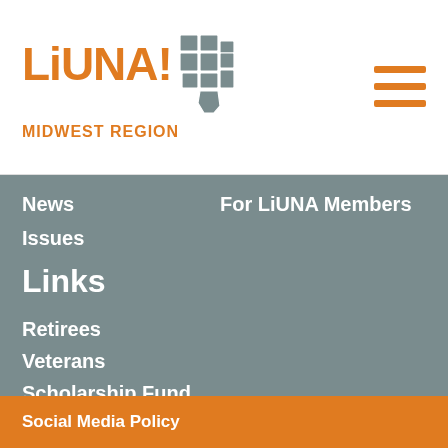[Figure (logo): LiUNA! Midwest Region logo with orange text and grey US map graphic]
News
Issues
For LiUNA Members
Links
Retirees
Veterans
Scholarship Fund
History
Benefits PLUS
Social Media Policy